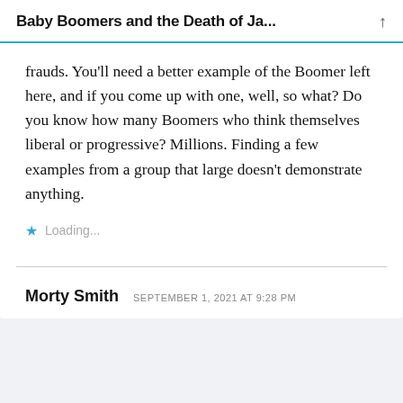Baby Boomers and the Death of Ja...
frauds. You'll need a better example of the Boomer left here, and if you come up with one, well, so what? Do you know how many Boomers who think themselves liberal or progressive? Millions. Finding a few examples from a group that large doesn't demonstrate anything.
Loading...
Morty Smith  SEPTEMBER 1, 2021 AT 9:28 PM